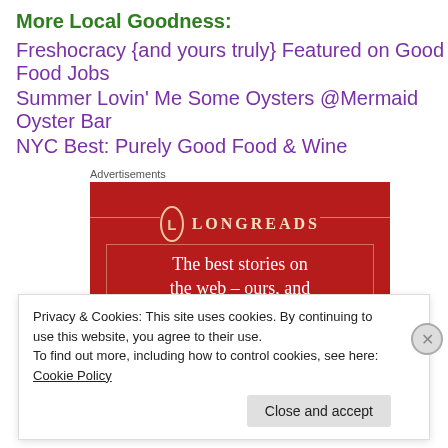More Local Goodness:
Freshocracy {and yours truly} Featured on Good Food Jobs
Summer Lovin' Me Some Oysters @Mermaid Oyster Bar
NYC Best: Purely Good Food & Wine
Advertisements
[Figure (screenshot): Longreads advertisement banner on a red background with logo circle containing 'L', brand name LONGREADS, decorative lines, border box, and text 'The best stories on the web – ours, and']
Privacy & Cookies: This site uses cookies. By continuing to use this website, you agree to their use.
To find out more, including how to control cookies, see here: Cookie Policy
Close and accept